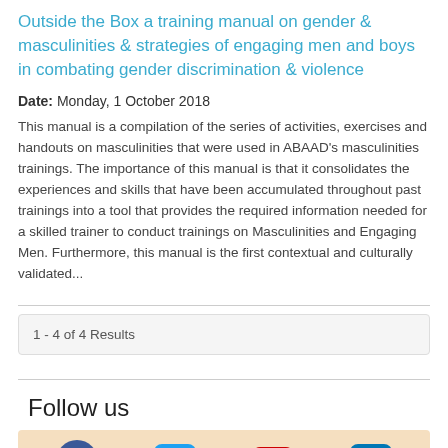Outside the Box a training manual on gender & masculinities & strategies of engaging men and boys in combating gender discrimination & violence
Date: Monday, 1 October 2018
This manual is a compilation of the series of activities, exercises and handouts on masculinities that were used in ABAAD's masculinities trainings. The importance of this manual is that it consolidates the experiences and skills that have been accumulated throughout past trainings into a tool that provides the required information needed for a skilled trainer to conduct trainings on Masculinities and Engaging Men. Furthermore, this manual is the first contextual and culturally validated...
1 - 4 of 4 Results
Follow us
[Figure (infographic): Social media icons row: Facebook (blue circle), Twitter (blue rounded square), YouTube (red rounded square), LinkedIn (blue rounded square)]